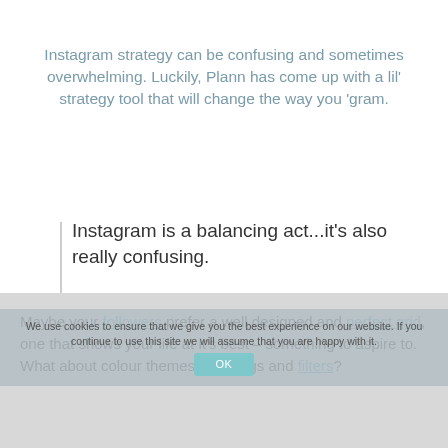Instagram strategy can be confusing and sometimes overwhelming. Luckily, Plann has come up with a lil' strategy tool that will change the way you 'gram.
Instagram is a balancing act...it's also really confusing.
Should it be your strategy to be authentic and transparent with your audience, showing them the 'real you?'
Maybe your followers prefer a well designed and perfect grid, one that shows your life at it's best – something to aspire to. What about colour themes, hashtags and filters?